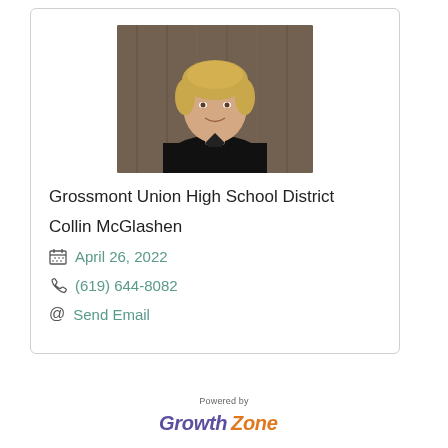[Figure (photo): Professional headshot of a woman with short blonde hair wearing a black blazer against a dark wooden background]
Grossmont Union High School District
Collin McGlashen
April 26, 2022
(619) 644-8082
Send Email
[Figure (logo): Powered by GrowthZone logo — 'Growth' in purple italic, 'Zone' in orange italic]